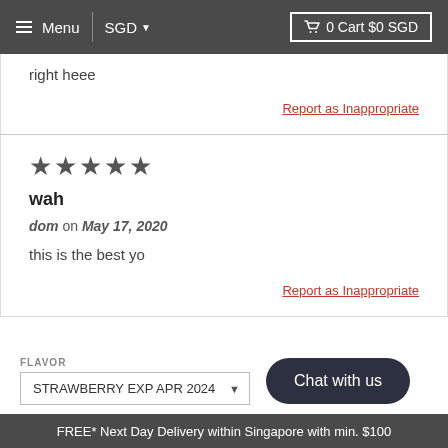☰ Menu | SGD ▼   🛒 0 Cart $0 SGD
right heee
Report as Inappropriate
★★★★★
wah
dom on May 17, 2020
this is the best yo
Report as Inappropriate
FLAVOR
STRAWBERRY EXP APR 2024
Chat with us
FREE* Next Day Delivery within Singapore with min. $100